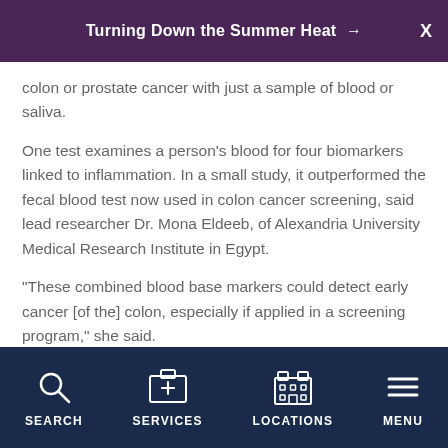Turning Down the Summer Heat →
colon or prostate cancer with just a sample of blood or saliva.
One test examines a person's blood for four biomarkers linked to inflammation. In a small study, it outperformed the fecal blood test now used in colon cancer screening, said lead researcher Dr. Mona Eldeeb, of Alexandria University Medical Research Institute in Egypt.
"These combined blood base markers could detect early cancer [of the] colon, especially if applied in a screening program," she said.
SEARCH   SERVICES   LOCATIONS   MENU